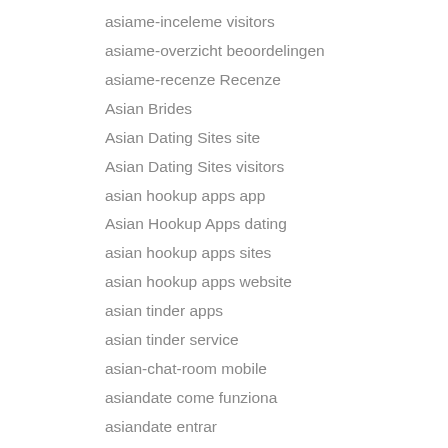asiame-inceleme visitors
asiame-overzicht beoordelingen
asiame-recenze Recenze
Asian Brides
Asian Dating Sites site
Asian Dating Sites visitors
asian hookup apps app
Asian Hookup Apps dating
asian hookup apps sites
asian hookup apps website
asian tinder apps
asian tinder service
asian-chat-room mobile
asiandate come funziona
asiandate entrar